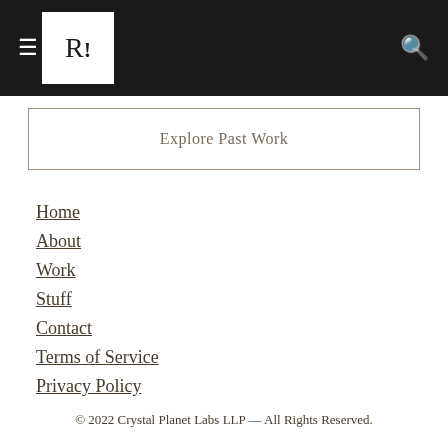R! [navigation header with hamburger menu and search icon]
Explore Past Work
Home
About
Work
Stuff
Contact
Terms of Service
Privacy Policy
© 2022 Crystal Planet Labs LLP — All Rights Reserved.